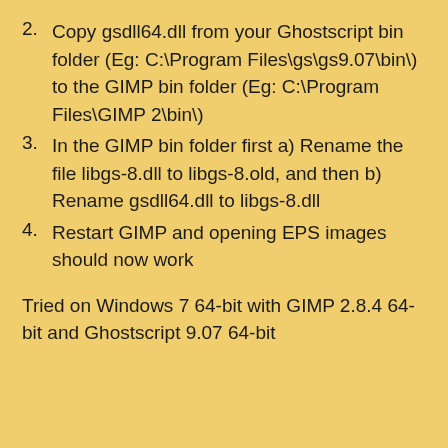2. Copy gsdll64.dll from your Ghostscript bin folder (Eg: C:\Program Files\gs\gs9.07\bin\) to the GIMP bin folder (Eg: C:\Program Files\GIMP 2\bin\)
3. In the GIMP bin folder first a) Rename the file libgs-8.dll to libgs-8.old, and then b) Rename gsdll64.dll to libgs-8.dll
4. Restart GIMP and opening EPS images should now work
Tried on Windows 7 64-bit with GIMP 2.8.4 64-bit and Ghostscript 9.07 64-bit